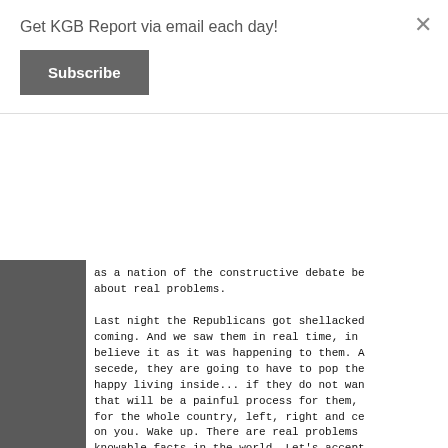Get KGB Report via email each day!
Subscribe
as a nation of the constructive debate be about real problems.
Last night the Republicans got shellacked coming. And we saw them in real time, in believe it as it was happening to them. A secede, they are going to have to pop the happy living inside... if they do not wan that will be a painful process for them, for the whole country, left, right and ce on you. Wake up. There are real problems knowable facts in the world. Let's accept might approach our problems differently. the Republican party and the conservative the humiliation they were dealt last nigh nation.
And in that spirit, congratulations every